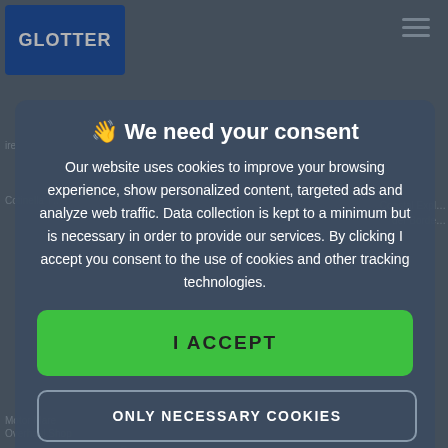[Figure (screenshot): Background map interface from Glotter website with navigation elements, partially visible map labels, and a hamburger menu icon]
👋 We need your consent
Our website uses cookies to improve your browsing experience, show personalized content, targeted ads and analyze web traffic. Data collection is kept to a minimum but is necessary in order to provide our services. By clicking I accept you consent to the use of cookies and other tracking technologies.
I ACCEPT
ONLY NECESSARY COOKIES
MORE INFO